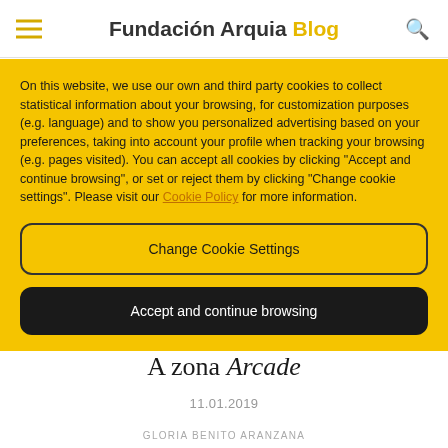Fundación Arquia Blog
On this website, we use our own and third party cookies to collect statistical information about your browsing, for customization purposes (e.g. language) and to show you personalized advertising based on your preferences, taking into account your profile when tracking your browsing (e.g. pages visited). You can accept all cookies by clicking "Accept and continue browsing", or set or reject them by clicking "Change cookie settings". Please visit our Cookie Policy for more information.
Change Cookie Settings
Accept and continue browsing
A zona Arcade
11.01.2019
GLORIA BENITO ARANZANA